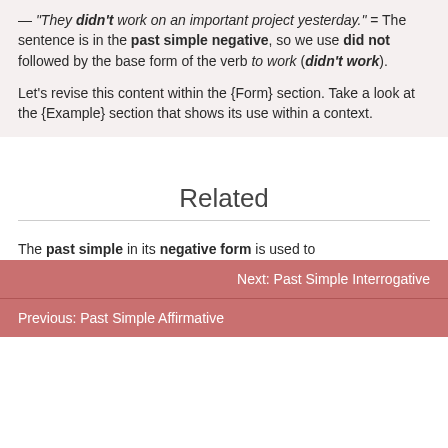— “They didn’t work on an important project yesterday.” = The sentence is in the past simple negative, so we use did not followed by the base form of the verb to work (didn’t work).
Let’s revise this content within the {Form} section. Take a look at the {Example} section that shows its use within a context.
Related
The past simple in its negative form is used to
Next: Past Simple Interrogative
Previous: Past Simple Affirmative